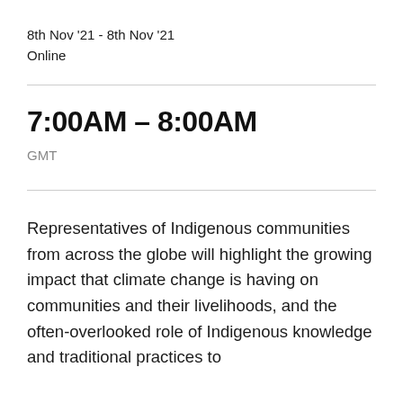8th Nov '21 - 8th Nov '21
Online
7:00AM – 8:00AM
GMT
Representatives of Indigenous communities from across the globe will highlight the growing impact that climate change is having on communities and their livelihoods, and the often-overlooked role of Indigenous knowledge and traditional practices to